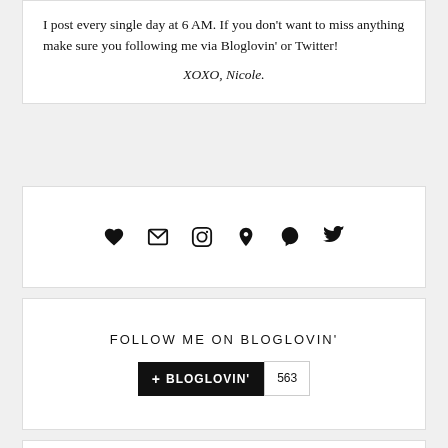I post every single day at 6 AM. If you don't want to miss anything make sure you following me via Bloglovin' or Twitter!
XOXO, Nicole.
[Figure (infographic): Social media icons row: heart (Bloglovin), envelope (email), Instagram, Pinterest, Snapchat, Twitter]
FOLLOW ME ON BLOGLOVIN'
[Figure (other): + BLOGLOVIN' button with follower count 563]